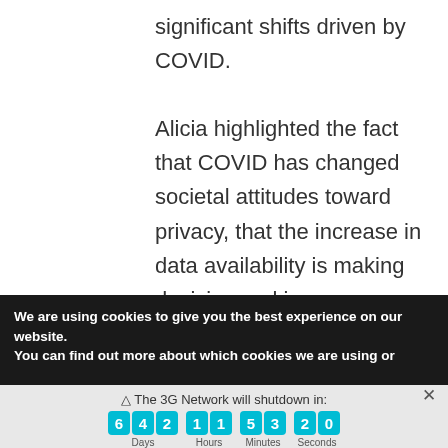significant shifts driven by COVID.
Alicia highlighted the fact that COVID has changed societal attitudes toward privacy, that the increase in data availability is making decision making more transparent, and cities and government are now focusing less on data capture but how they can use this
We are using cookies to give you the best experience on our website.
You can find out more about which cookies we are using or
⚠ The 3G Network will shutdown in:
6 4 2  Days  1 1  Hours  5 3  Minutes  2 0  Seconds